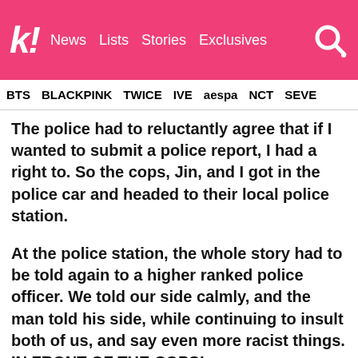kl! News Lists Stories Exclusives
BTS BLACKPINK TWICE IVE aespa NCT SEVE
The police had to reluctantly agree that if I wanted to submit a police report, I had a right to. So the cops, Jin, and I got in the police car and headed to their local police station.
At the police station, the whole story had to be told again to a higher ranked police officer. We told our side calmly, and the man told his side, while continuing to insult both of us, and say even more racist things. IN FRONT OF THE COPS!